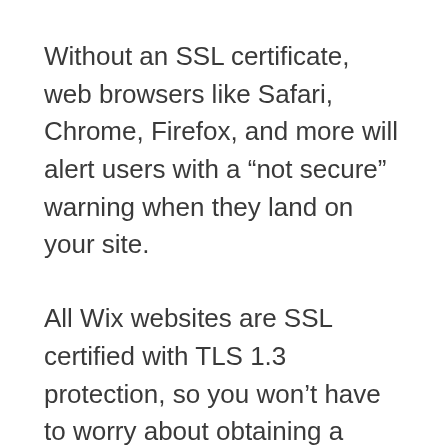Without an SSL certificate, web browsers like Safari, Chrome, Firefox, and more will alert users with a “not secure” warning when they land on your site.
All Wix websites are SSL certified with TLS 1.3 protection, so you won’t have to worry about obtaining a certificate from a third party or installing it on your own.
Beyond the SSL, Wix is set up for secure payments as well, with payment gateways on their sites meeting the highest industry standards for online sellers. That